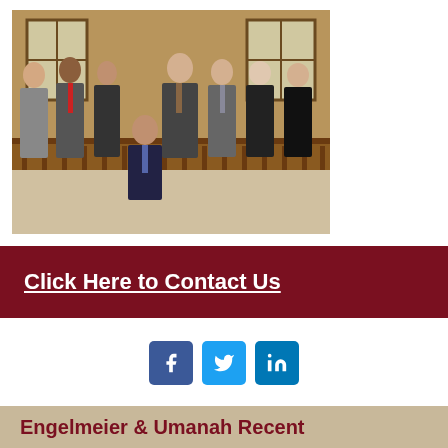[Figure (photo): Group photo of eight law firm attorneys in professional attire standing and sitting in a wood-paneled room]
Click Here to Contact Us
[Figure (infographic): Social media icons: Facebook, Twitter, LinkedIn]
Engelmeier & Umanah Recent